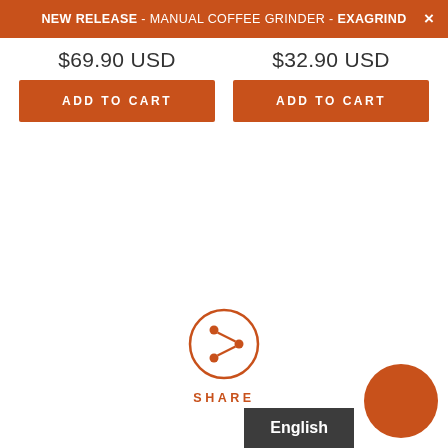NEW RELEASE - MANUAL COFFEE GRINDER - EXAGRIND  X
$69.90 USD
ADD TO CART
$32.90 USD
ADD TO CART
[Figure (infographic): Share button: circle with share icon and label SHARE below]
English
[Figure (other): Orange circular button in bottom right corner]